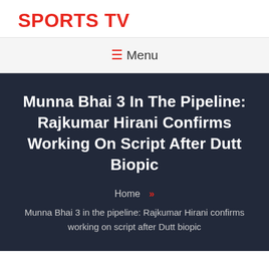SPORTS TV
☰ Menu
Munna Bhai 3 In The Pipeline: Rajkumar Hirani Confirms Working On Script After Dutt Biopic
Home »
Munna Bhai 3 in the pipeline: Rajkumar Hirani confirms working on script after Dutt biopic